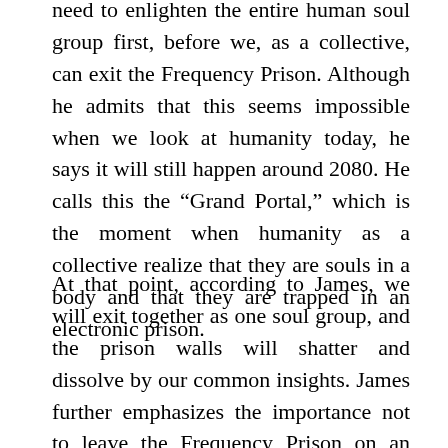need to enlighten the entire human soul group first, before we, as a collective, can exit the Frequency Prison. Although he admits that this seems impossible when we look at humanity today, he says it will still happen around 2080. He calls this the “Grand Portal,” which is the moment when humanity as a collective realize that they are souls in a body and that they are trapped in an electronic prison.
At that point, according to James, we will exit together as one soul group, and the prison walls will shatter and dissolve by our common insights. James further emphasizes the importance not to leave the Frequency Prison on an individual basis because then we “abandon” the rest of humanity, and it is a selfish act.